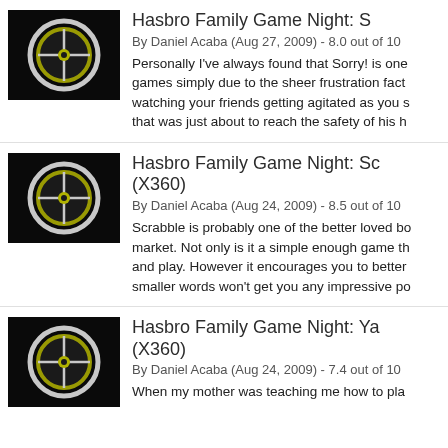[Figure (photo): Thumbnail image of Xbox 360 console with yellow-green glowing ring, dark background]
Hasbro Family Game Night: S
By Daniel Acaba (Aug 27, 2009) - 8.0 out of 10
Personally I've always found that Sorry! is one games simply due to the sheer frustration fact watching your friends getting agitated as you s that was just about to reach the safety of his h
[Figure (photo): Thumbnail image of Xbox 360 console with yellow-green glowing ring, dark background]
Hasbro Family Game Night: Sc (X360)
By Daniel Acaba (Aug 24, 2009) - 8.5 out of 10
Scrabble is probably one of the better loved bo market. Not only is it a simple enough game th and play. However it encourages you to better smaller words won't get you any impressive po
[Figure (photo): Thumbnail image of Xbox 360 console with yellow-green glowing ring, dark background]
Hasbro Family Game Night: Ya (X360)
By Daniel Acaba (Aug 24, 2009) - 7.4 out of 10
When my mother was teaching me how to pla